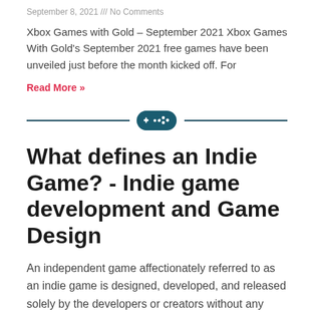September 8, 2021 /// No Comments
Xbox Games with Gold – September 2021 Xbox Games With Gold's September 2021 free games have been unveiled just before the month kicked off. For
Read More »
[Figure (illustration): Horizontal divider with a dark teal gamepad icon in the center]
What defines an Indie Game? - Indie game development and Game Design
An independent game affectionately referred to as an indie game is designed, developed, and released solely by the developers or creators without any monetary input